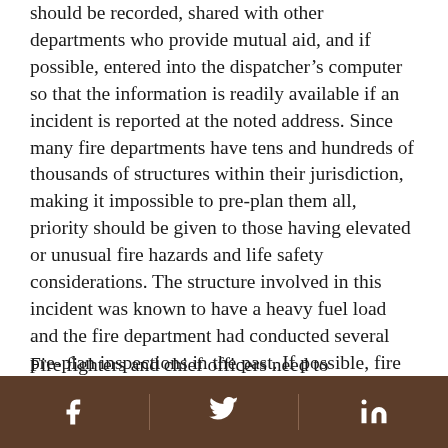should be recorded, shared with other departments who provide mutual aid, and if possible, entered into the dispatcher's computer so that the information is readily available if an incident is reported at the noted address. Since many fire departments have tens and hundreds of thousands of structures within their jurisdiction, making it impossible to pre-plan them all, priority should be given to those having elevated or unusual fire hazards and life safety considerations. The structure involved in this incident was known to have a heavy fuel load and the fire department had conducted several pre-plan inspections in the past. If possible, fire departments should obtain engineering drawings or detailed floor plans to be made part of the pre-plan record.
Fire fighters and chief officers need to understand
Social media icons: Facebook, Twitter, LinkedIn